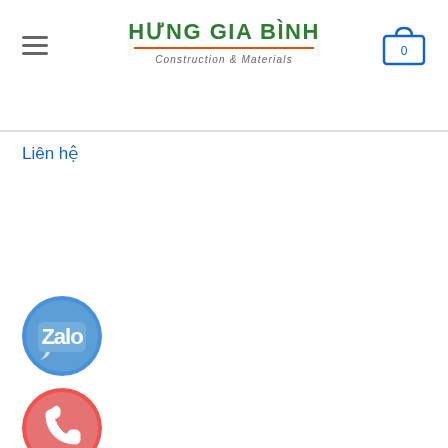HƯNG GIA BÌNH Construction & Materials
Liên hệ
[Figure (logo): Zalo contact button - blue circle with Zalo logo]
[Figure (logo): Phone call button - red/coral circle with phone handset icon]